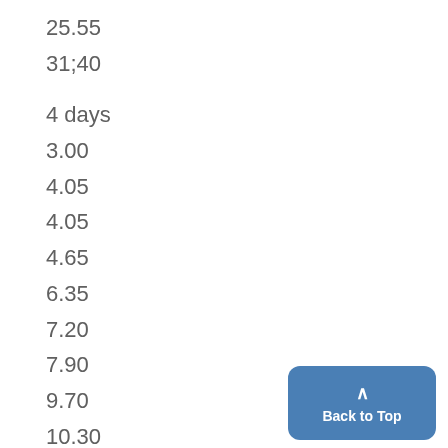25.55
31;40
4 days
3.00
4.05
4.05
4.65
6.35
7.20
7.90
9.70
10.30
10.30